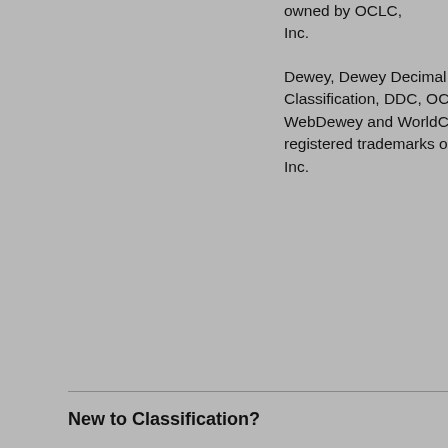owned by OCLC, Inc.
Dewey, Dewey Decimal Classification, DDC, OCLC, WebDewey and WorldCat are registered trademarks of OCLC, Inc.
New to Classification?
Classification schemes are used to provide a systematic arrangement of materials. The classification numbers applied to books and other materials are used to arrange items on shelves and to support browsing, filtering and retrieval of bibliographic information in online systems. The Classify prototype is designed to help users apply classification numbers.
Classify provides a user